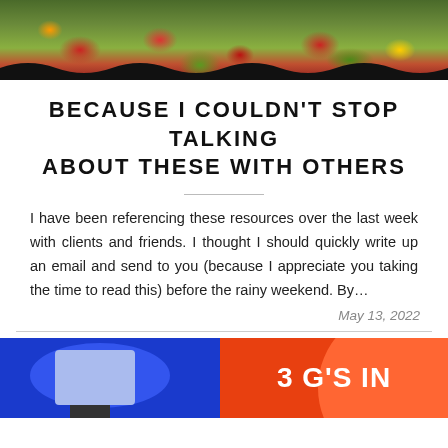[Figure (photo): Garden photo showing colorful flowers and plants with dark wavy border edging]
BECAUSE I COULDN'T STOP TALKING ABOUT THESE WITH OTHERS
I have been referencing these resources over the last week with clients and friends. I thought I should quickly write up an email and send to you (because I appreciate you taking the time to read this) before the rainy weekend. By...
May 13, 2022
[Figure (photo): Bottom image showing a person in front of presentation screen on left (blue background) and orange graphic with text '3 G'S IN' on right]